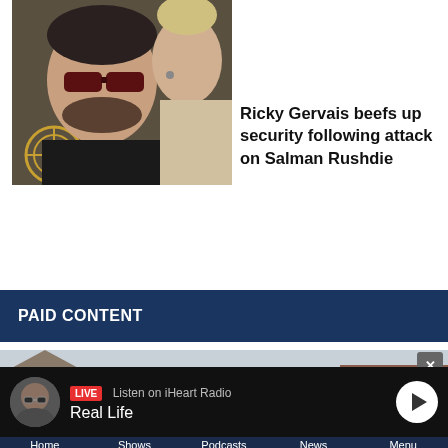[Figure (photo): Fiesta Court Motel exterior photo showing building with signage and trees]
[Figure (photo): Ricky Gervais wearing sunglasses at an event, smiling, with a woman beside him]
Ricky Gervais beefs up security following attack on Salman Rushdie
PAID CONTENT
[Figure (photo): Buildings with trees in background - paid content advertisement strip]
[Figure (photo): Radio player bar: LIVE Listen on iHeart Radio - Real Life, with play button]
Home  Shows  Podcasts  News  Menu